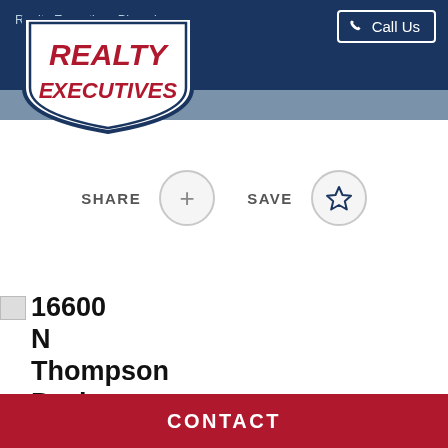Realty Executives Phoenix
[Figure (logo): Realty Executives logo — white shield-shaped badge with red italic text REALTY EXECUTIVES, outlined in navy blue]
[Figure (other): Call Us button with phone icon, white border on dark navy background]
SHARE
SAVE
[Figure (photo): Property image placeholder for 16600 N Thompson Peak Parkway]
16600 N Thompson Peak Parkway
CONTACT